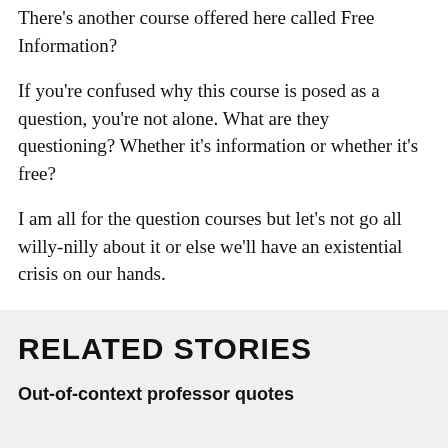There’s another course offered here called Free Information?
If you’re confused why this course is posed as a question, you’re not alone. What are they questioning? Whether it’s information or whether it’s free?
I am all for the question courses but let’s not go all willy-nilly about it or else we’ll have an existential crisis on our hands.
RELATED STORIES
Out-of-context professor quotes